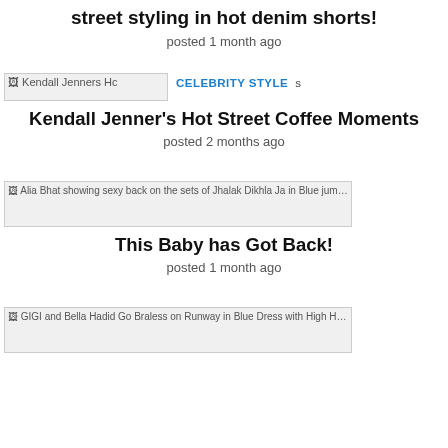street styling in hot denim shorts!
posted 1 month ago
[Figure (photo): Kendall Jenners Hc thumbnail image]
CELEBRITY STYLE   s
Kendall Jenner’s Hot Street Coffee Moments
posted 2 months ago
[Figure (photo): Alia Bhat showing sexy back on the sets of Jhalak Dikhla Ja in Blue jumpsuit with Red L thumbnail image]
ALIA BHAT   es
This Baby has Got Back!
posted 1 month ago
[Figure (photo): GIGI and Bella Hadid Go Braless on Runway in Blue Dress with High Heels at Mila thumbnail image]
BELLA HADID   Versace SS 2017